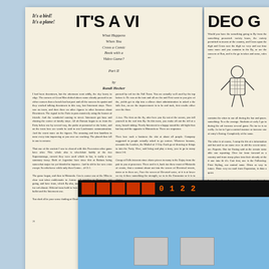[Figure (photo): Left page of a magazine article. Large bold headline reads 'It's a bird! It's a plane! IT'S A VI...' (truncated). Subtitle reads 'What Happens When You Cross a Comic Book with a Video Game? Part II by Randi Hecker'. Two columns of small body text below. Aged/yellowed paper appearance.]
[Figure (photo): Right page of same magazine article, partially visible. Continues headline '...DEO G...' Large bold letters. Column of text and an illustration of a superhero/robot figure. Date visible at bottom right.]
[Figure (screenshot): Bottom portion shows a game screenshot on a dark/black monitor background. Blue sky background with a red toolbar at top showing score numbers. Two gray platform blocks visible at bottom.]